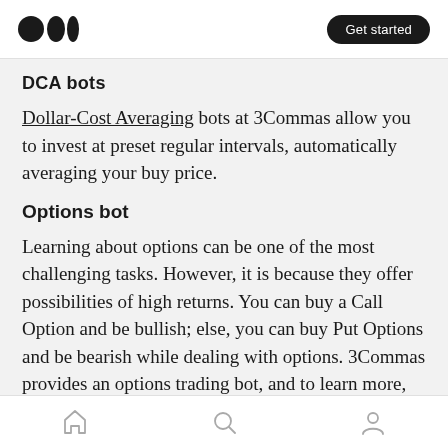Medium logo | Get started
DCA bots
Dollar-Cost Averaging bots at 3Commas allow you to invest at preset regular intervals, automatically averaging your buy price.
Options bot
Learning about options can be one of the most challenging tasks. However, it is because they offer possibilities of high returns. You can buy a Call Option and be bullish; else, you can buy Put Options and be bearish while dealing with options. 3Commas provides an options trading bot, and to learn more, visit 3Commas
Home | Search | Profile